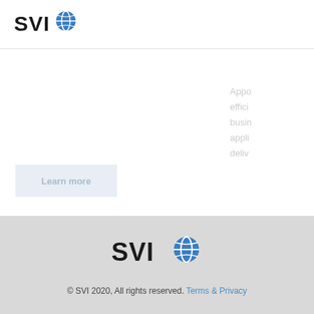SVIO
[Figure (logo): SVI logo with blue circle/globe icon next to bold text 'SVI']
Appo... effici... busi... appli... deliv...
Learn more
[Figure (logo): SVI logo centered in footer - large version with blue circle/globe icon]
© SVI 2020, All rights reserved. Terms & Privacy